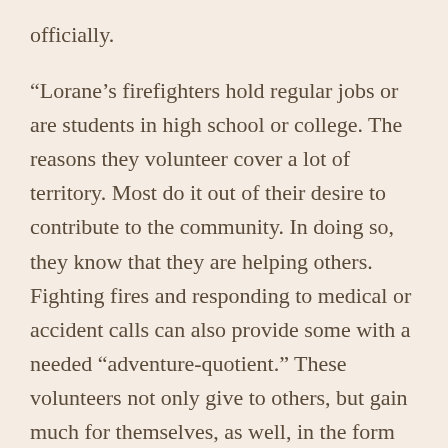officially.
“Lorane’s firefighters hold regular jobs or are students in high school or college. The reasons they volunteer cover a lot of territory. Most do it out of their desire to contribute to the community. In doing so, they know that they are helping others. Fighting fires and responding to medical or accident calls can also provide some with a needed “adventure-quotient.” These volunteers not only give to others, but gain much for themselves, as well, in the form of self-respect.
“Working alongside others with the same skills and objectives can also forge lifelong